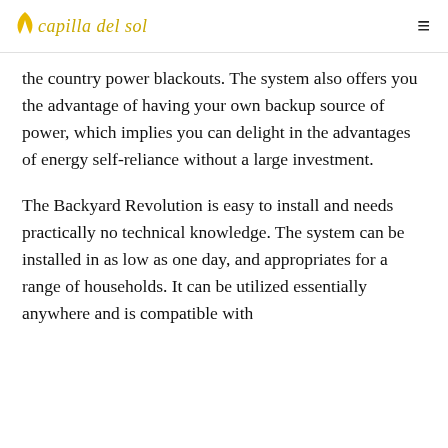capilla del sol
the country power blackouts. The system also offers you the advantage of having your own backup source of power, which implies you can delight in the advantages of energy self-reliance without a large investment.
The Backyard Revolution is easy to install and needs practically no technical knowledge. The system can be installed in as low as one day, and appropriates for a range of households. It can be utilized essentially anywhere and is compatible with